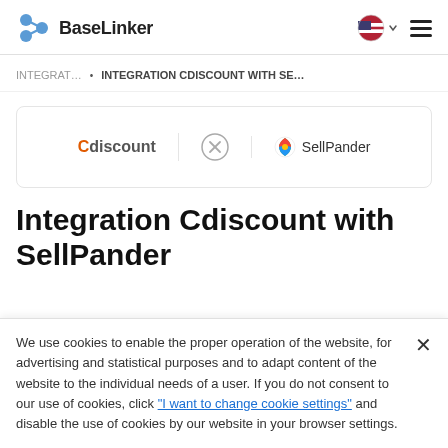BaseLinker
INTEGRAT... • INTEGRATION CDISCOUNT WITH SE...
[Figure (logo): Cdiscount logo and SellPander logo connected by an X circle symbol]
Integration Cdiscount with SellPander
We use cookies to enable the proper operation of the website, for advertising and statistical purposes and to adapt content of the website to the individual needs of a user. If you do not consent to our use of cookies, click "I want to change cookie settings" and disable the use of cookies by our website in your browser settings.